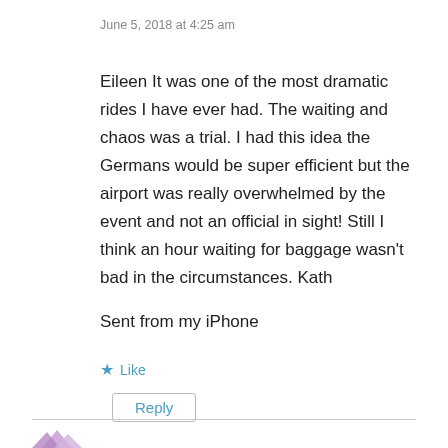June 5, 2018 at 4:25 am
Eileen It was one of the most dramatic rides I have ever had. The waiting and chaos was a trial. I had this idea the Germans would be super efficient but the airport was really overwhelmed by the event and not an official in sight! Still I think an hour waiting for baggage wasn't bad in the circumstances. Kath
Sent from my iPhone
★ Like
Reply